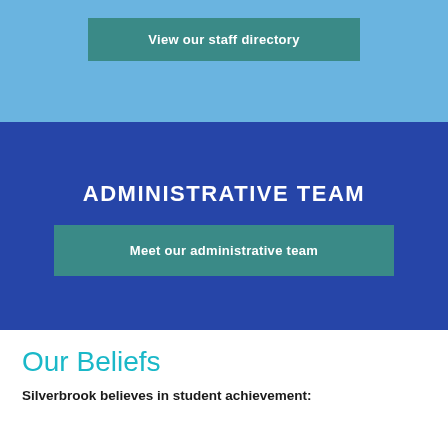[Figure (screenshot): Blue section with a teal button labeled 'View our staff directory']
ADMINISTRATIVE TEAM
[Figure (screenshot): Dark blue section with teal button labeled 'Meet our administrative team']
Our Beliefs
Silverbrook believes in student achievement: